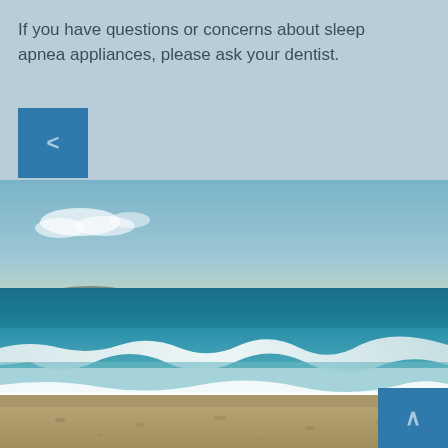If you have questions or concerns about sleep apnea appliances, please ask your dentist.
[Figure (photo): A beach scene with ocean waves, sandy shore, and a pale blue sky with distant islands on the horizon. The image has a warm, slightly vintage tone.]